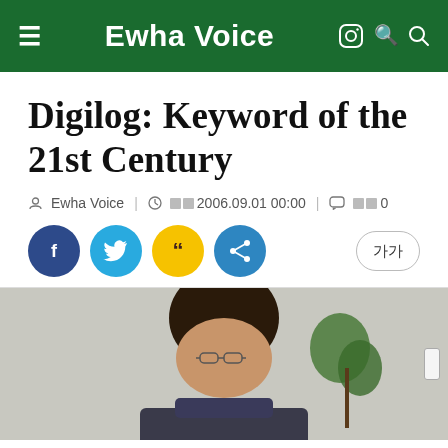Ewha Voice
Digilog: Keyword of the 21st Century
Ewha Voice  |  2006.09.01 00:00  |  0
[Figure (photo): Portrait photo of a person seated, with a plant in the background]